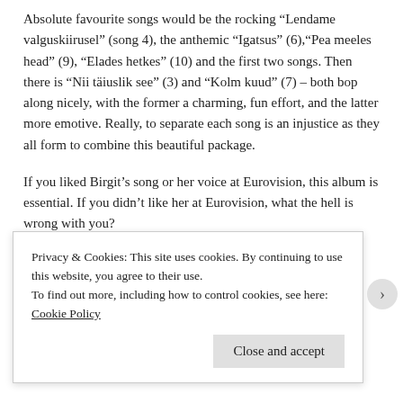Absolute favourite songs would be the rocking “Lendame valguskiirusel” (song 4), the anthemic “Igatsus” (6),“Pea meeles head” (9), “Elades hetkes” (10) and the first two songs. Then there is “Nii täiuslik see” (3) and “Kolm kuud” (7) – both bop along nicely, with the former a charming, fun effort, and the latter more emotive. Really, to separate each song is an injustice as they all form to combine this beautiful package.
If you liked Birgit’s song or her voice at Eurovision, this album is essential. If you didn’t like her at Eurovision, what the hell is wrong with you?
Track list
01. Olen loodud rändama
02. Et uus saaks alguse
03. Nii täiuslik see
Privacy & Cookies: This site uses cookies. By continuing to use this website, you agree to their use.
To find out more, including how to control cookies, see here: Cookie Policy